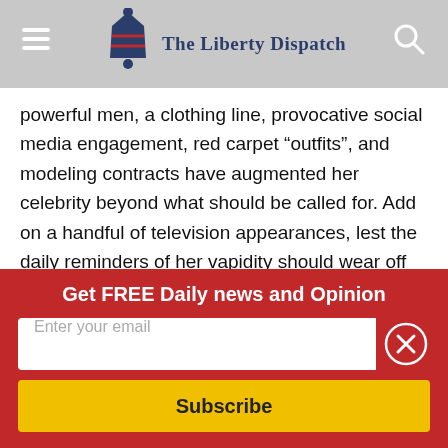The Liberty Dispatch
powerful men, a clothing line, provocative social media engagement, red carpet “outfits”, and modeling contracts have augmented her celebrity beyond what should be called for. Add on a handful of television appearances, lest the daily reminders of her vapidity should wear off between her demographic switching their glances from phone screens to television screens, and you’ve got a fame fueled piece of socialite news.
There is no real reason to know who she is or to remember where she came from. She has not contributed much.
Get FREE Daily news and Opinion
Enter your email
Subscribe